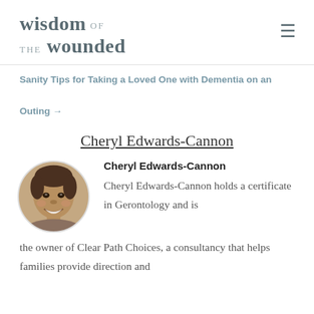wisdom of the wounded
Sanity Tips for Taking a Loved One with Dementia on an Outing →
Cheryl Edwards-Cannon
[Figure (photo): Circular portrait photo of Cheryl Edwards-Cannon, a smiling woman in sepia/grayscale tones]
Cheryl Edwards-Cannon holds a certificate in Gerontology and is the owner of Clear Path Choices, a consultancy that helps families provide direction and